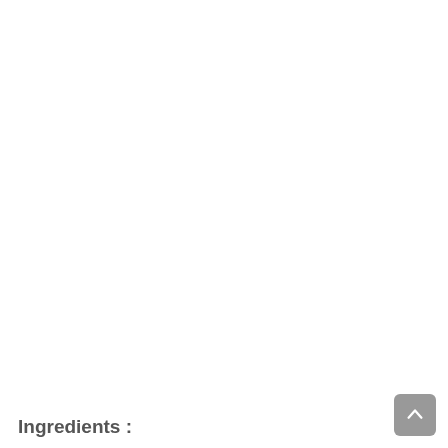Ingredients :
[Figure (other): Back to top button — a grey rounded square with an upward pointing arrow icon, positioned in the bottom-right corner of the page.]